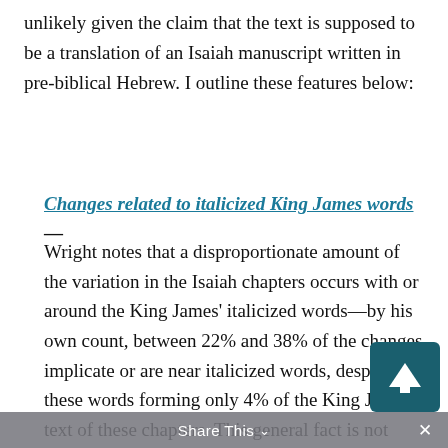unlikely given the claim that the text is supposed to be a translation of an Isaiah manuscript written in pre-biblical Hebrew. I outline these features below:
Changes related to italicized King James words—
Wright notes that a disproportionate amount of the variation in the Isaiah chapters occurs with or around the King James' italicized words—by his own count, between 22% and 38% of the changes implicate or are near italicized words, despite these words forming only 4% of the King James text of these chapters. This general fact is not disputed by faithful scholars, though they generally argue in return that this means that at least 62% of these changes cannot be explained by proximity to italics. (NOTE: The way Wright compares 4% with 38% is already misleading,
Share This